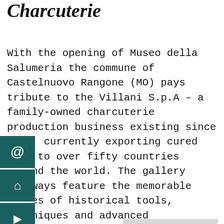Charcuterie
With the opening of Museo della Salumeria the commune of Castelnuovo Rangone (MO) pays tribute to the Villani S.p.A – a family-owned charcuterie production business existing since 1886, currently exporting cured meat to over fifty countries around the world. The gallery hallways feature the memorable images of historical tools, techniques and advanced technologies and modern
Privacy & Cookies: This site uses cookies. By continuing to use this website, you agree to their use.
To find out more, including how to control cookies, see here:
Cookie Policy
Close and accept